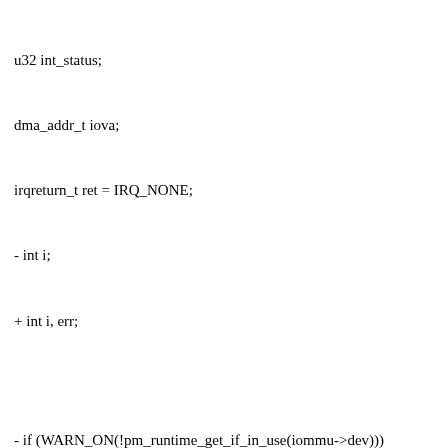u32 int_status;
dma_addr_t iova;
irqreturn_t ret = IRQ_NONE;
- int i;
+ int i, err;

- if (WARN_ON(!pm_runtime_get_if_in_use(iommu->dev)))
- return 0;
+ err = pm_runtime_get_if_in_use(iommu->dev);
+ if (WARN_ON_ONCE(err <= 0))
+ return ret;

if (WARN_ON(clk_bulk_enable(iommu->num_clocks, iommu->clocks)))
goto out;
@@ -620,11 +621,15 @@ static void rk_iommu_zap_iova(struct rk_iommu_domain *rk_domain,
spin_lock_irqsave(&rk_domain->iommus_lock, flags);
list_for_each(pos, &rk_domain->iommus) {
struct rk_iommu *iommu;
+ int ret;

iommu = list_entry(pos, struct rk_iommu, node);

/* Only zap TLBs of IOMMUs that are powered on. */
- if (pm_runtime_get_if_in_use(iommu->dev)) {